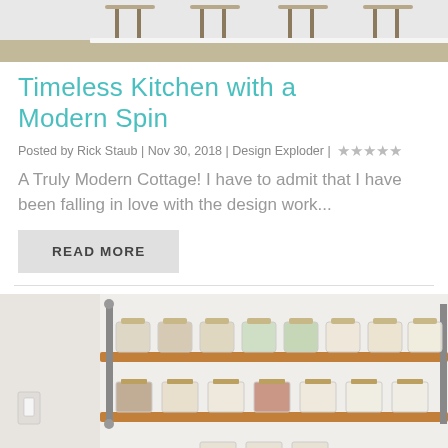[Figure (photo): Top of page photo showing chairs/stools in a modern kitchen, partially visible at top]
Timeless Kitchen with a Modern Spin
Posted by Rick Staub | Nov 30, 2018 | Design Exploder | ★★★★☆
A Truly Modern Cottage! I have to admit that I have been falling in love with the design work...
READ MORE
[Figure (photo): A wood and pipe wall-mounted spice rack with rows of glass jars filled with various spices and pantry items]